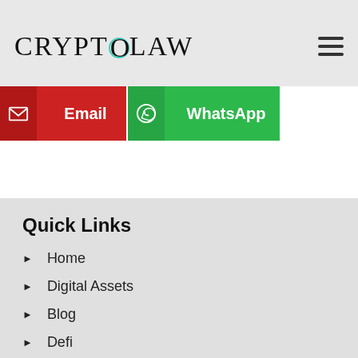CRYPTOLAW
[Figure (screenshot): Email button (red) with envelope icon and WhatsApp button (green) with WhatsApp icon]
Quick Links
Home
Digital Assets
Blog
Defi